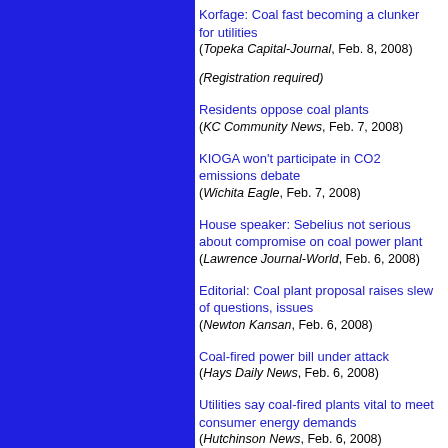Korfage: Coal fast becoming a clunker for utilities
(Topeka Capital-Journal, Feb. 8, 2008)
(Registration required)
Residents oppose coal plants
(KC Community News, Feb. 7, 2008)
KIOGA won't participate in CO2 emissions debate
(Wichita Eagle, Feb. 7, 2008)
House speaker: Sebelius not serious about compromise on coal power plant
(Lawrence Journal-World, Feb. 6, 2008)
Editorial: Coal plant proposal raises slew of questions, issues
(Newton Kansan, Feb. 6, 2008)
Coal-fired power bill under attack
(Hays Daily News, Feb. 6, 2008)
Utilities say coal-fired plants vital to meet consumer energy demands
(Hutchinson News, Feb. 6, 2008)
(Registration required)
Firms form bioenergy partnership